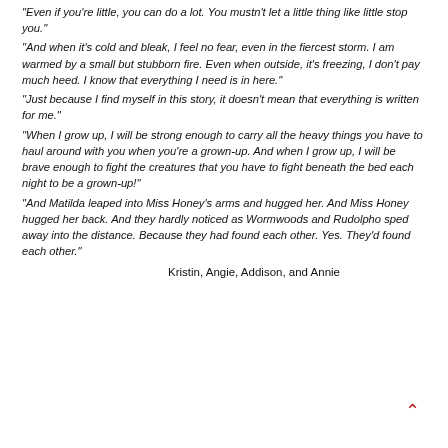"Even if you're little, you can do a lot. You mustn't let a little thing like little stop you."
"And when it's cold and bleak, I feel no fear, even in the fiercest storm. I am warmed by a small but stubborn fire. Even when outside, it's freezing, I don't pay much heed. I know that everything I need is in here."
"Just because I find myself in this story, it doesn't mean that everything is written for me."
"When I grow up, I will be strong enough to carry all the heavy things you have to haul around with you when you're a grown-up. And when I grow up, I will be brave enough to fight the creatures that you have to fight beneath the bed each night to be a grown-up!"
"And Matilda leaped into Miss Honey's arms and hugged her. And Miss Honey hugged her back. And they hardly noticed as Wormwoods and Rudolpho sped away into the distance. Because they had found each other. Yes. They'd found each other."
Kristin, Angie, Addison, and Annie